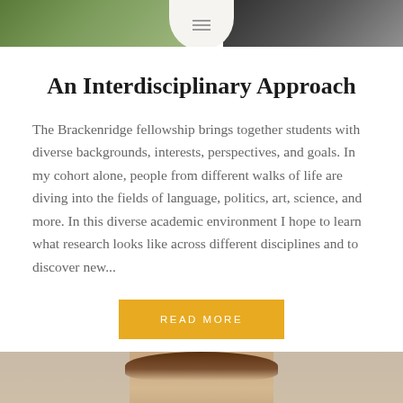[Figure (photo): Top portion of webpage showing two photos partially visible at top: left side shows green outdoor/nature background, right side shows a dark-haired person, with a white rounded oval in center containing a hamburger menu icon]
An Interdisciplinary Approach
The Brackenridge fellowship brings together students with diverse backgrounds, interests, perspectives, and goals. In my cohort alone, people from different walks of life are diving into the fields of language, politics, art, science, and more. In this diverse academic environment I hope to learn what research looks like across different disciplines and to discover new...
[Figure (other): Yellow/gold 'READ MORE' button]
[Figure (photo): Bottom portion showing top of a woman's head with brown hair against a stone/brick wall background]